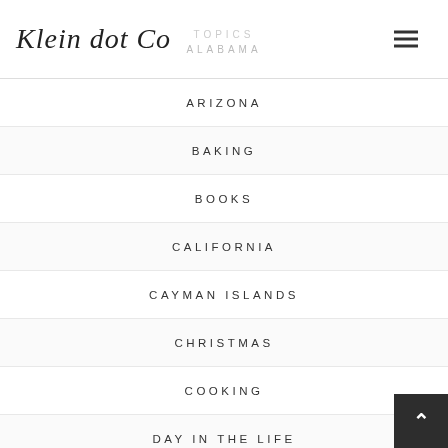Klein dot Co | TOPICS | ALABAMA
ARIZONA
BAKING
BOOKS
CALIFORNIA
CAYMAN ISLANDS
CHRISTMAS
COOKING
DAY IN THE LIFE